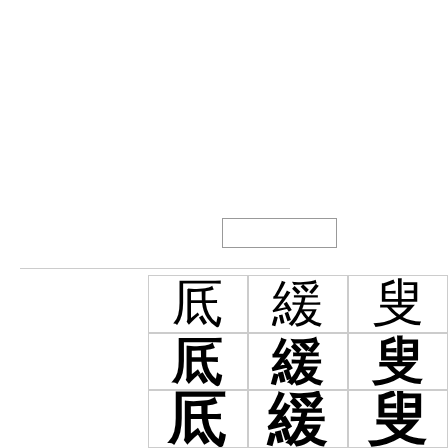[Figure (illustration): A rectangular outline (empty box) in the upper-center area of the page, followed by a horizontal line on the left, and a 3x3 grid of Chinese characters shown in progressively bolder weights: top row in regular weight (厎緩叟), middle row in bold (厎緩叟), bottom row in extra-bold/black (厎緩叟)]